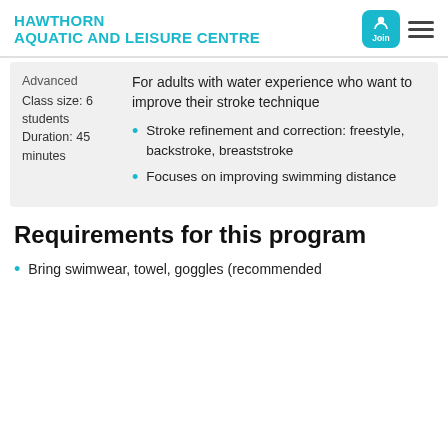HAWTHORN AQUATIC AND LEISURE CENTRE
Advanced
Class size: 6 students
Duration: 45 minutes
For adults with water experience who want to improve their stroke technique
Stroke refinement and correction: freestyle, backstroke, breaststroke
Focuses on improving swimming distance
Requirements for this program
Bring swimwear, towel, goggles (recommended